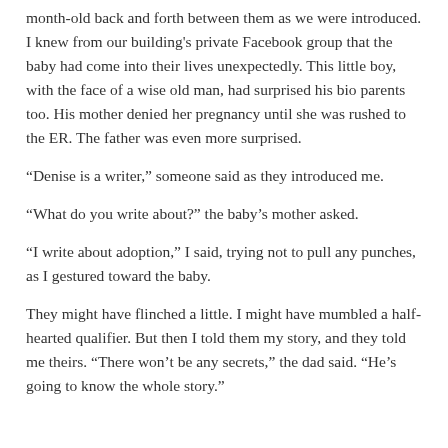month-old back and forth between them as we were introduced. I knew from our building's private Facebook group that the baby had come into their lives unexpectedly. This little boy, with the face of a wise old man, had surprised his bio parents too. His mother denied her pregnancy until she was rushed to the ER. The father was even more surprised.
“Denise is a writer,” someone said as they introduced me.
“What do you write about?” the baby’s mother asked.
“I write about adoption,” I said, trying not to pull any punches, as I gestured toward the baby.
They might have flinched a little. I might have mumbled a half-hearted qualifier. But then I told them my story, and they told me theirs. “There won’t be any secrets,” the dad said. “He’s going to know the whole story.”